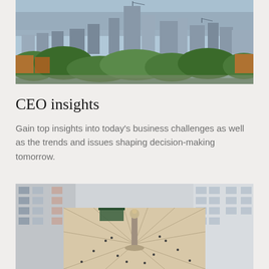[Figure (photo): Aerial view of a city skyline with tall buildings, greenery, and a body of water in the background]
CEO insights
Gain top insights into today's business challenges as well as the trends and issues shaping decision-making tomorrow.
[Figure (photo): Aerial view of a large public plaza with a central column monument, surrounded by white modern buildings and people walking]